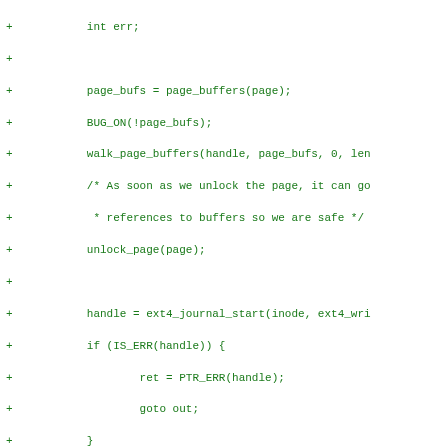diff/patch code showing ext4 journal write_end_buffers function additions
+ int err;
+
+        page_bufs = page_buffers(page);
+        BUG_ON(!page_bufs);
+        walk_page_buffers(handle, page_bufs, 0, len
+        /* As soon as we unlock the page, it can go
+         * references to buffers so we are safe */
+        unlock_page(page);
+
+        handle = ext4_journal_start(inode, ext4_wri
+        if (IS_ERR(handle)) {
+                ret = PTR_ERR(handle);
+                goto out;
+        }
+
+        ret = walk_page_buffers(handle, page_bufs,
+                                        do_journal_get_writ
+
+        err = walk_page_buffers(handle, page_bufs,
+                                        write_end_fn);
+        if (ret == 0)
+                ret = err;
+        err = ext4_journal_stop(handle);
+        if (!ret)
+                ret = err;
+
+        walk_page_buffers(handle, page_bufs, 0, len
+        EXT4_I(inode)->i_state |= EXT4_STATE_JDATA;
+out:
+        return ret;
+}